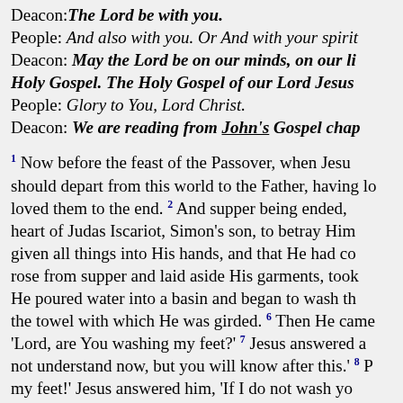Deacon: The Lord be with you.
People: And also with you. Or And with your spirit
Deacon: May the Lord be on our minds, on our li... Holy Gospel. The Holy Gospel of our Lord Jesus...
People: Glory to You, Lord Christ.
Deacon: We are reading from John's Gospel chap...
1 Now before the feast of the Passover, when Jesu... should depart from this world to the Father, having lo... loved them to the end. 2 And supper being ended, ... heart of Judas Iscariot, Simon's son, to betray Him... given all things into His hands, and that He had co... rose from supper and laid aside His garments, took... He poured water into a basin and began to wash th... the towel with which He was girded. 6 Then He came... 'Lord, are You washing my feet?' 7 Jesus answered a... not understand now, but you will know after this.' 8 P... my feet!' Jesus answered him, 'If I do not wash yo... Peter said to Him, 'Lord, not my feet only, but also m... him, 'He who is bathed needs only to wash his fee... clean, but not all of you.' 11 For He knew who would... not all clean.' 12 So when He had washed their fe...